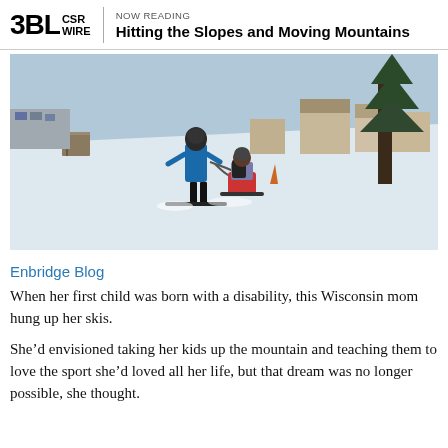3BL CSR WIRE | NOW READING Hitting the Slopes and Moving Mountains
[Figure (photo): A ski instructor in a blue jacket guides a child in an adaptive ski seat (bi-ski) down a snow-covered mountain slope. Buildings and trees are visible in the background.]
Enbridge Blog
When her first child was born with a disability, this Wisconsin mom hung up her skis.
She’d envisioned taking her kids up the mountain and teaching them to love the sport she’d loved all her life, but that dream was no longer possible, she thought.